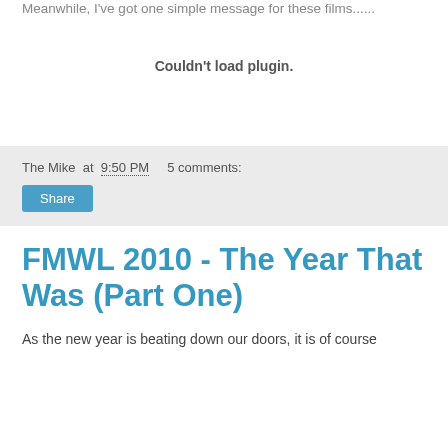Meanwhile, I've got one simple message for these films......
[Figure (other): Embedded plugin area showing 'Couldn't load plugin.' message]
The Mike at 9:50 PM    5 comments:
Share
FMWL 2010 - The Year That Was (Part One)
As the new year is beating down our doors, it is of course